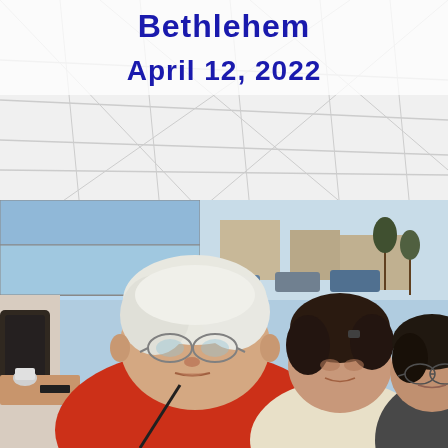Bethlehem
April 12, 2022
[Figure (photo): Indoor photograph of three people seated at a restaurant or gathering. In the foreground is an elderly person with white hair wearing glasses and a red shirt, facing right. Behind them are two women, one in a cream/white top and one in a dark top with glasses. Large windows with a street scene visible in the background.]